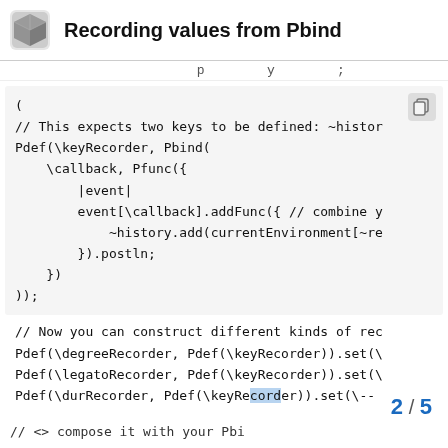Recording values from Pbind
p y ;
(
// This expects two keys to be defined: ~histor
Pdef(\keyRecorder, Pbind(
    \callback, Pfunc({
        |event|
        event[\callback].addFunc({ // combine y
            ~history.add(currentEnvironment[~re
        }).postln;
    })
));
// Now you can construct different kinds of rec
Pdef(\degreeRecorder, Pdef(\keyRecorder)).set(\
Pdef(\legatoRecorder, Pdef(\keyRecorder)).set(\
Pdef(\durRecorder, Pdef(\keyRecorder)).set(\--
// <> compose it with your Pbi